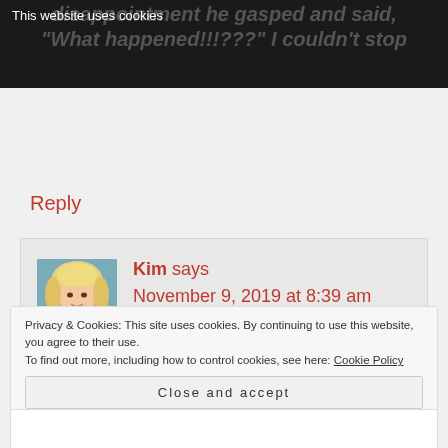disappointment he gasped and said, "What happened!!!???" I couldn't stop
This website uses cookies
OKAY
MORE INFO
Reply
[Figure (photo): Avatar photo of Kim, a woman with blonde hair]
Kim says
November 9, 2019 at 8:39 am
Privacy & Cookies: This site uses cookies. By continuing to use this website, you agree to their use.
To find out more, including how to control cookies, see here: Cookie Policy
Close and accept